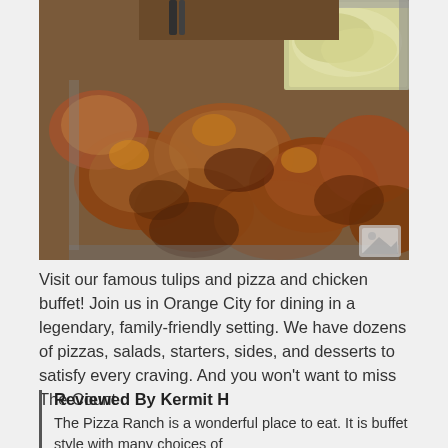[Figure (photo): A buffet tray filled with golden-brown fried chicken pieces. In the background are additional buffet trays with other food items. Metal tongs are visible. A small image icon appears in the lower right corner of the photo.]
Visit our famous tulips and pizza and chicken buffet! Join us in Orange City for dining in a legendary, family-friendly setting. We have dozens of pizzas, salads, starters, sides, and desserts to satisfy every craving. And you won't want to miss The Count
Reviewed By Kermit H
The Pizza Ranch is a wonderful place to eat. It is buffet style with many choices of